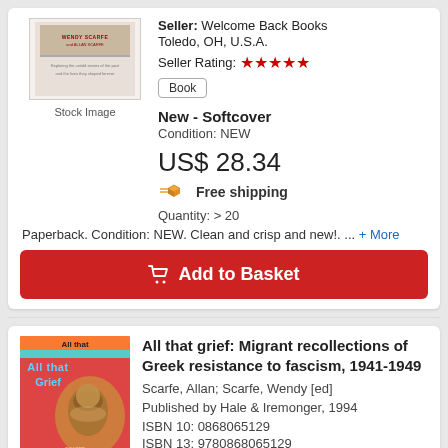[Figure (photo): Book cover stock image placeholder for Wendy Scarfe and Allan Scarfe book]
Stock Image
Seller: Welcome Back Books
Toledo, OH, U.S.A.
Seller Rating: ★★★★★
Book
New - Softcover
Condition: NEW
US$ 28.34
Free shipping
Quantity: > 20
Paperback. Condition: NEW. Clean and crisp and new!. ... + More
Add to Basket
[Figure (photo): Book cover for 'All that grief: Migrant recollections of Greek resistance to fascism, 1941-1949' showing artistic illustration with face]
All that grief: Migrant recollections of Greek resistance to fascism, 1941-1949
Scarfe, Allan; Scarfe, Wendy [ed]
Published by Hale & Iremonger, 1994
ISBN 10: 0868065129
ISBN 13: 9780868065120